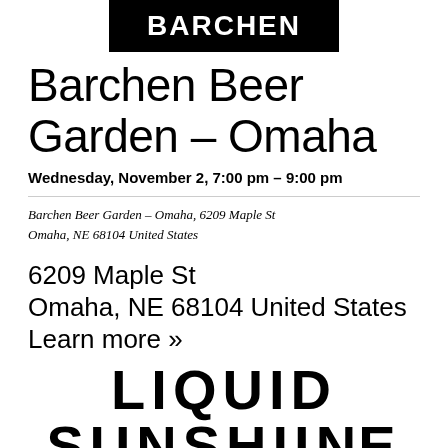[Figure (logo): BARCHEN logo: white text on black rectangular background]
Barchen Beer Garden – Omaha
Wednesday, November 2, 7:00 pm – 9:00 pm
Barchen Beer Garden – Omaha, 6209 Maple St Omaha, NE 68104 United States
6209 Maple St Omaha, NE 68104 United States Learn more »
[Figure (illustration): LIQUID SUNSHINE text in large bold black stylized letters at bottom of page, partially cropped]